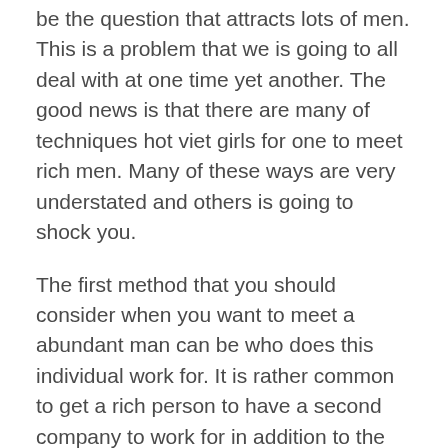be the question that attracts lots of men. This is a problem that we is going to all deal with at one time yet another. The good news is that there are many of techniques hot viet girls for one to meet rich men. Many of these ways are very understated and others is going to shock you.
The first method that you should consider when you want to meet a abundant man can be who does this individual work for. It is rather common to get a rich person to have a second company to work for in addition to the one that this individual works just for. This allows him to get things done in a quicker manner. If perhaps he recieve more people doing work for him, he can schedule things therefore they happen at a faster rate.